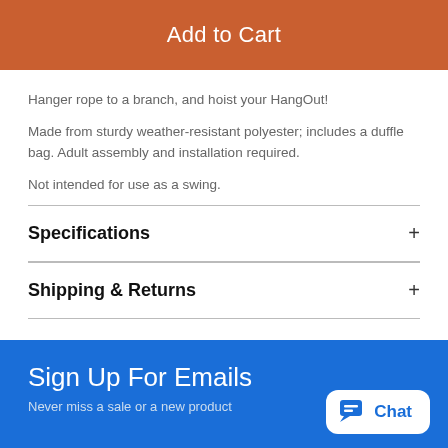Add to Cart
Hanger rope to a branch, and hoist your HangOut!
Made from sturdy weather-resistant polyester; includes a duffle bag. Adult assembly and installation required.
Not intended for use as a swing.
Specifications
Shipping & Returns
Related Products
Sign Up For Emails
Never miss a sale or a new product